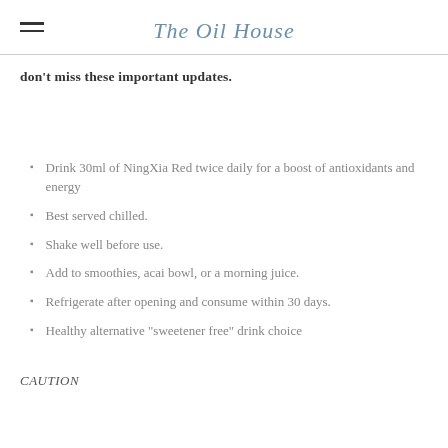The Oil House
don't miss these important updates.
Drink 30ml of NingXia Red twice daily for a boost of antioxidants and energy
Best served chilled.
Shake well before use.
Add to smoothies, acai bowl, or a morning juice.
Refrigerate after opening and consume within 30 days.
Healthy alternative "sweetener free" drink choice
CAUTION